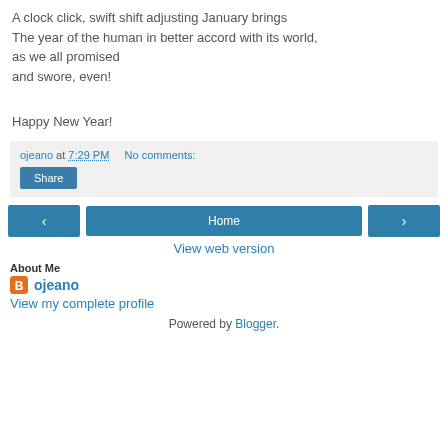A clock click, swift shift adjusting January brings
The year of the human in better accord with its world,
as we all promised
and swore, even!
Happy New Year!
ojeano at 7:29 PM   No comments:
Share
‹  Home  ›
View web version
About Me
ojeano
View my complete profile
Powered by Blogger.